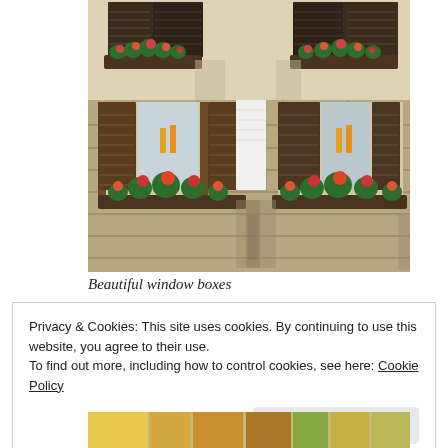[Figure (photo): Photograph of a European building facade with wooden shuttered windows decorated with colorful flower boxes (geraniums), stone wall visible below, strong shadows cast by the shutters and plants in sunlight.]
Beautiful window boxes
Privacy & Cookies: This site uses cookies. By continuing to use this website, you agree to their use.
To find out more, including how to control cookies, see here: Cookie Policy
[Figure (photo): Partial bottom strip of a photograph showing colorful building facades, partially visible.]